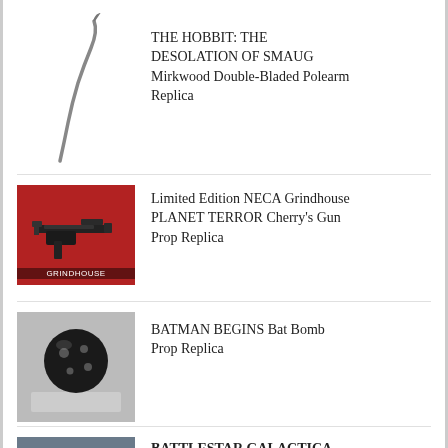[Figure (photo): Tall slender curved polearm/staff weapon replica on white background]
THE HOBBIT: THE DESOLATION OF SMAUG Mirkwood Double-Bladed Polearm Replica
[Figure (photo): NECA Grindhouse Planet Terror Cherry's gun prop replica mounted on red display background with Grindhouse label]
Limited Edition NECA Grindhouse PLANET TERROR Cherry's Gun Prop Replica
[Figure (photo): Batman Begins Bat Bomb prop replica - black sphere with holes on display stand]
BATMAN BEGINS Bat Bomb Prop Replica
[Figure (photo): Battlestar Galactica Colonial Blaster prop replica, close-up of gun]
BATTLESTAR GALACTICA Season 1 Colonial Blaster Prop Replica